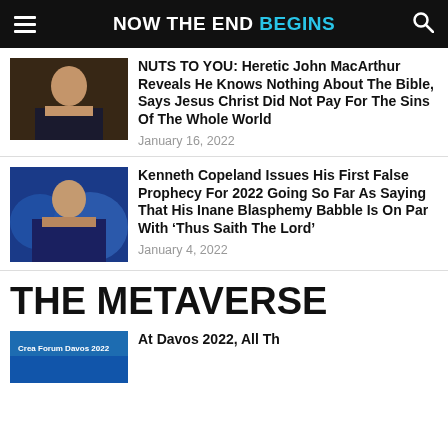NOW THE END BEGINS
NUTS TO YOU: Heretic John MacArthur Reveals He Knows Nothing About The Bible, Says Jesus Christ Did Not Pay For The Sins Of The Whole World
January 16, 2022
Kenneth Copeland Issues His First False Prophecy For 2022 Going So Far As Saying That His Inane Blasphemy Babble Is On Par With ‘Thus Saith The Lord’
January 4, 2022
THE METAVERSE